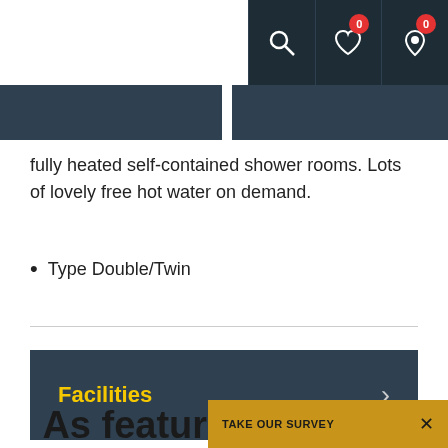[Figure (screenshot): Navigation bar with search, wishlist (badge 0), and location icon (badge 0) on dark background]
[Figure (photo): Two dark image banner strips side by side]
fully heated self-contained shower rooms. Lots of lovely free hot water on demand.
Type Double/Twin
Facilities
As featured in these
TAKE OUR SURVEY